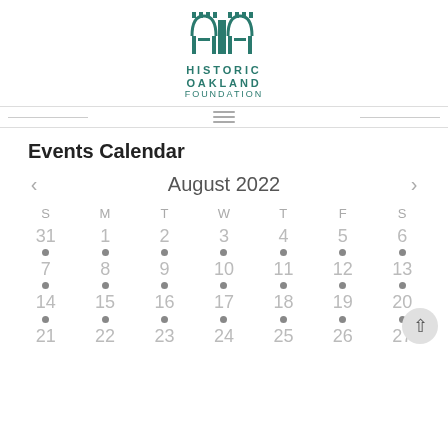[Figure (logo): Historic Oakland Foundation logo — two green arched gate icons above the text HISTORIC OAKLAND FOUNDATION in teal/green lettering]
Events Calendar
[Figure (other): August 2022 calendar with navigation arrows, day headers S M T W T F S, and dates 31, 1-27 shown with event dots beneath each date]
| S | M | T | W | T | F | S |
| --- | --- | --- | --- | --- | --- | --- |
| 31 | 1 | 2 | 3 | 4 | 5 | 6 |
| 7 | 8 | 9 | 10 | 11 | 12 | 13 |
| 14 | 15 | 16 | 17 | 18 | 19 | 20 |
| 21 | 22 | 23 | 24 | 25 | 26 | 27 |